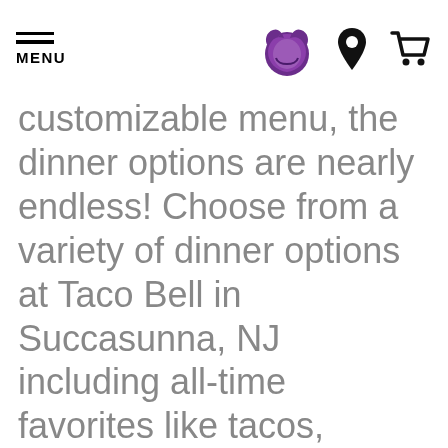MENU | [Taco Bell logo] | [Location icon] | [Cart icon]
customizable menu, the dinner options are nearly endless! Choose from a variety of dinner options at Taco Bell in Succasunna, NJ including all-time favorites like tacos, burritos, quesadillas, nachos and so much more! Upgrade any of